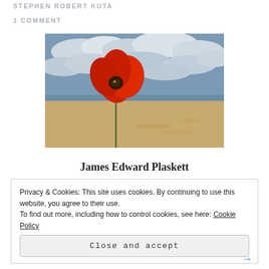STEPHEN ROBERT KUTA
1 COMMENT
[Figure (photo): A red poppy flower standing on a sandy beach with a cloudy sky in the background]
James Edward Plaskett
Privacy & Cookies: This site uses cookies. By continuing to use this website, you agree to their use.
To find out more, including how to control cookies, see here: Cookie Policy
Close and accept